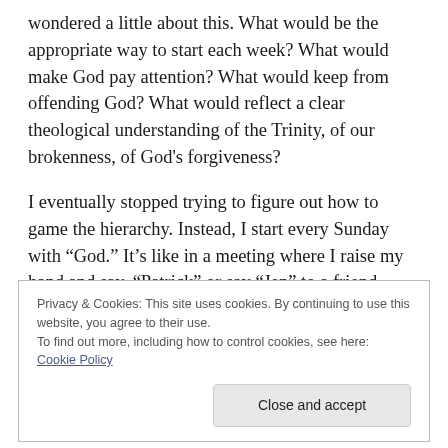wondered a little about this. What would be the appropriate way to start each week? What would make God pay attention? What would keep from offending God? What would reflect a clear theological understanding of the Trinity, of our brokenness, of God's forgiveness?
I eventually stopped trying to figure out how to game the hierarchy. Instead, I start every Sunday with "God." It's like in a meeting where I raise my hand and say, "Patrick" or say "Jen" to a friend looking the other way at a gathering. I simply get their attention by
Privacy & Cookies: This site uses cookies. By continuing to use this website, you agree to their use.
To find out more, including how to control cookies, see here: Cookie Policy
Close and accept
I once had a friend who started her prayer, “Father